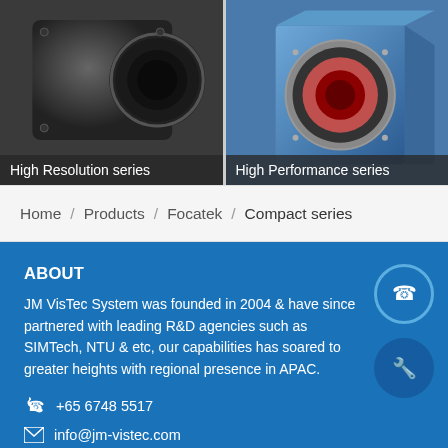[Figure (photo): High Resolution series camera product photo - dark metallic industrial camera with lens mount]
[Figure (photo): High Performance series camera product photo - blue industrial camera body with lens mount]
Home / Products / Focatek / Compact series
ABOUT
JM VisTec System was founded in 2004 & have since partnered with leading R&D agencies such as SIMTech, NTU & etc. our capabilities has soared to greater heights with regional presence in APAC.
+65 6748 5517
info@jm-vistec.com
10 Kaki Bukit Ave 1,
#07-06,
Singapore 417942